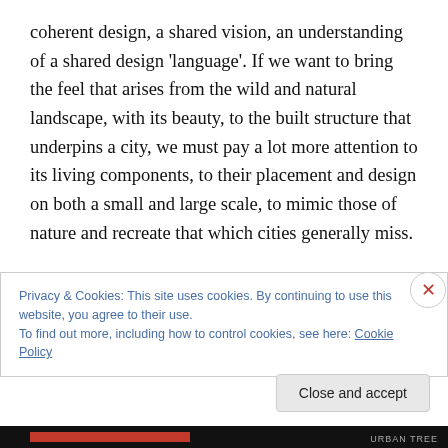coherent design, a shared vision, an understanding of a shared design ‘language’. If we want to bring the feel that arises from the wild and natural landscape, with its beauty, to the built structure that underpins a city, we must pay a lot more attention to its living components, to their placement and design on both a small and large scale, to mimic those of nature and recreate that which cities generally miss.

Plants gain our attention by more than their size alone. Their structure and texture, their form and color, go a long
Privacy & Cookies: This site uses cookies. By continuing to use this website, you agree to their use.
To find out more, including how to control cookies, see here: Cookie Policy
Close and accept